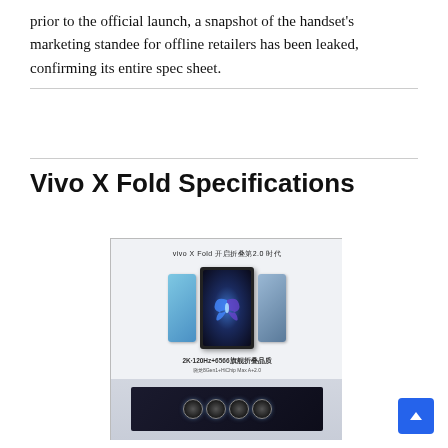prior to the official launch, a snapshot of the handset's marketing standee for offline retailers has been leaked, confirming its entire spec sheet.
Vivo X Fold Specifications
[Figure (photo): Photo of a Vivo X Fold marketing standee for offline retailers, showing the foldable phone open and closed with Chinese text reading 'vivo X Fold 开启折叠第2.0时代' and specs text '2K+120Hz+6566旗舰折叠品质', along with a camera module showcase at the bottom of the standee.]